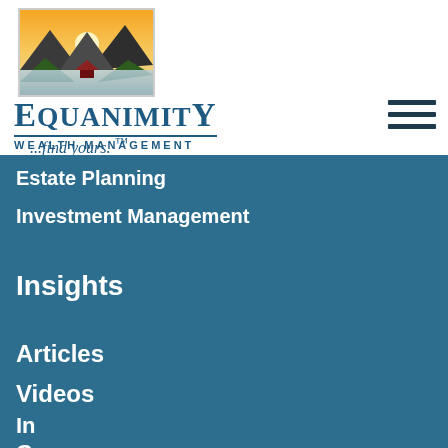[Figure (logo): Equanimity Wealth Management logo — landscape scene with mountains, sunset sky, water, and trees in a rectangular frame]
EQUANIMITY WEALTH MANAGEMENT
...find yours. ™
Estate Planning
Investment Management
Insights
Articles
Videos
In...
G...
Gl...
By continuing to use this site, you consent to our use of cookies.
ACCEPT